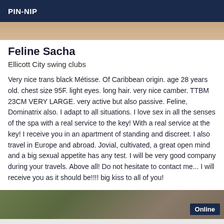PIN-NIP
[Figure (photo): Top portion of a photo showing a person, cropped at the top of the card]
Feline Sacha
Ellicott City swing clubs
Very nice trans black Métisse. Of Caribbean origin. age 28 years old. chest size 95F. light eyes. long hair. very nice camber. TTBM 23CM VERY LARGE. very active but also passive. Feline, Dominatrix also. I adapt to all situations. I love sex in all the senses of the spa with a real service to the key! With a real service at the key! I receive you in an apartment of standing and discreet. I also travel in Europe and abroad. Jovial, cultivated, a great open mind and a big sexual appetite has any test. I will be very good company during your travels. Above all! Do not hesitate to contact me... I will receive you as it should be!!!! big kiss to all of you!
[Figure (photo): Bottom photo showing a person outdoors, with an 'Online' badge in the bottom right corner]